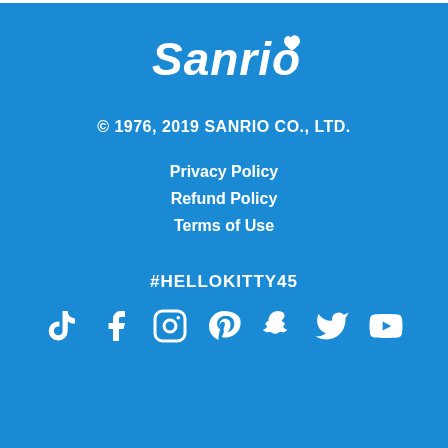[Figure (logo): Sanrio logo with heart symbol in white on blue background]
© 1976, 2019 SANRIO CO., LTD.
Privacy Policy
Refund Policy
Terms of Use
#HELLOKITTY45
[Figure (other): Social media icons row: TikTok, Facebook, Instagram, Pinterest, Snapchat, Twitter, YouTube]